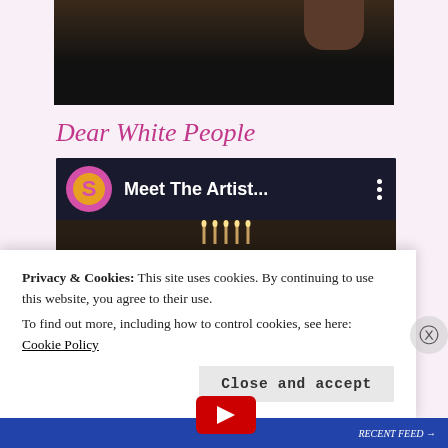[Figure (screenshot): Dark video thumbnail at top]
Dear White People
[Figure (screenshot): YouTube-style video thumbnail showing 'Meet The Artist...' with people in a dark scene and a red play button]
Privacy & Cookies: This site uses cookies. By continuing to use this website, you agree to their use.
To find out more, including how to control cookies, see here: Cookie Policy
Close and accept